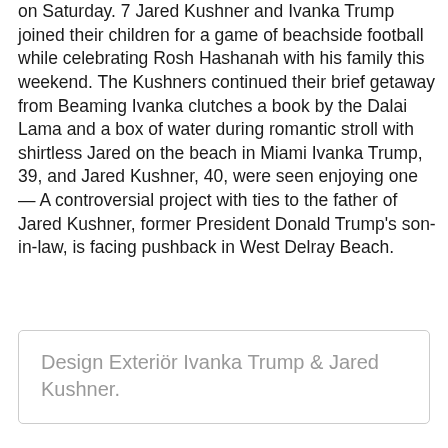on Saturday. 7 Jared Kushner and Ivanka Trump joined their children for a game of beachside football while celebrating Rosh Hashanah with his family this weekend. The Kushners continued their brief getaway from Beaming Ivanka clutches a book by the Dalai Lama and a box of water during romantic stroll with shirtless Jared on the beach in Miami Ivanka Trump, 39, and Jared Kushner, 40, were seen enjoying one — A controversial project with ties to the father of Jared Kushner, former President Donald Trump's son-in-law, is facing pushback in West Delray Beach.
Design Exteriör Ivanka Trump & Jared Kushner.